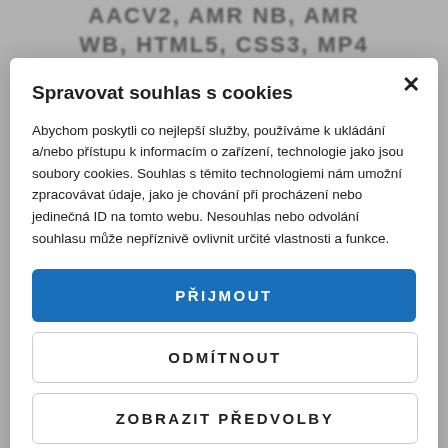AACV2, AMR NB, AMR WB, HTML5, CSS3, MP4
Spravovat souhlas s cookies
Abychom poskytli co nejlepší služby, používáme k ukládání a/nebo přístupu k informacím o zařízení, technologie jako jsou soubory cookies. Souhlas s těmito technologiemi nám umožní zpracovávat údaje, jako je chování při procházení nebo jedinečná ID na tomto webu. Nesouhlas nebo odvolání souhlasu může nepříznivě ovlivnit určité vlastnosti a funkce.
PŘIJMOUT
ODMÍTNOUT
ZOBRAZIT PŘEDVOLBY
Zásady cookies